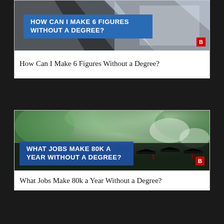[Figure (screenshot): Thumbnail image with dark diagonal stripes and blue banner overlay reading HOW CAN I MAKE 6 FIGURES WITHOUT A DEGREE? with red B badge]
How Can I Make 6 Figures Without a Degree?
[Figure (photo): Photo of graduation ceremony with many students in black mortarboard caps, green trees in background, blue banner overlay reading WHAT JOBS MAKE 80K A YEAR WITHOUT A DEGREE? with red B badge]
What Jobs Make 80k a Year Without a Degree?